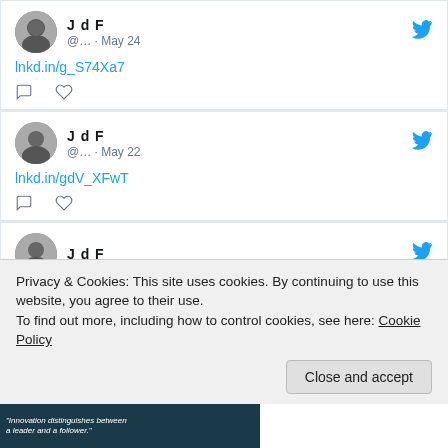[Figure (screenshot): Tweet card: J d F, @... · May 24, link lnkd.in/g_S74Xa7, comment and like icons]
[Figure (screenshot): Tweet card: J d F, @... · May 22, link lnkd.in/gdV_XFwT, comment and like icons]
[Figure (screenshot): Partial tweet card: J d F with avatar and Twitter bird icon]
Privacy & Cookies: This site uses cookies. By continuing to use this website, you agree to their use.
To find out more, including how to control cookies, see here: Cookie Policy
[Figure (screenshot): Bottom partial image with dark teal background and italic white text]